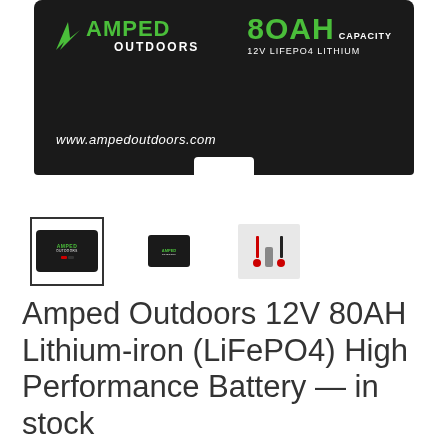[Figure (photo): Amped Outdoors 80AH 12V LiFePO4 Lithium battery product photo showing black battery box with green Amped Outdoors logo and 80AH capacity text, with website www.ampedoutdoors.com]
[Figure (photo): Three product thumbnail images: selected front view of battery, side view of battery, and accessory cables/connectors]
Amped Outdoors 12V 80AH Lithium-iron (LiFePO4) High Performance Battery — in stock